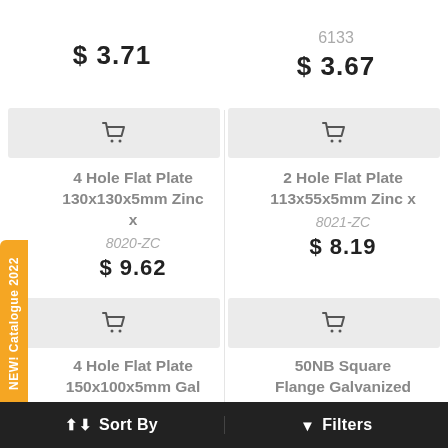$ 3.71
6133
$ 3.67
4 Hole Flat Plate 130x130x5mm Zinc x
8020-ZC
$ 9.62
2 Hole Flat Plate 113x55x5mm Zinc x
8021-ZC
$ 8.19
4 Hole Flat Plate 150x100x5mm Gal Steel
50NB Square Flange Galvanized Steel ( Inner Ø
Sort By
Filters
NEW! Catalogue 2022